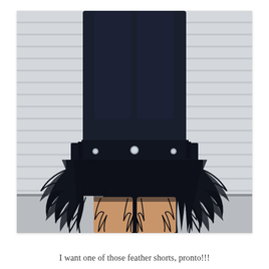[Figure (photo): Close-up photo of a person wearing black feather-trimmed shorts and a dark navy blazer or top, standing in front of a white slatted garage door background. The feather shorts have denim-style waistband with silver studs and rivets, with dramatic black feathers covering the lower portion.]
I want one of those feather shorts, pronto!!!